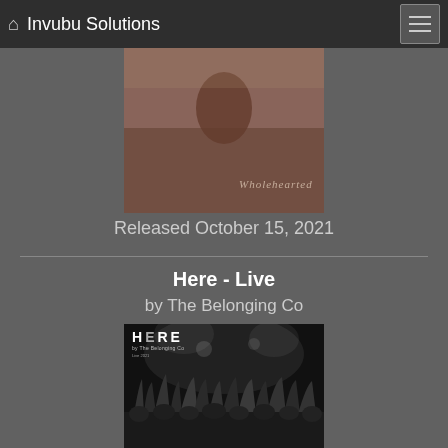Invubu Solutions
[Figure (photo): Album cover for Wholehearted - a moody outdoor photo with warm brown/burgundy tones, showing a person, with cursive text 'Wholehearted' overlaid]
Released October 15, 2021
Here - Live
by The Belonging Co
[Figure (photo): Album cover for 'HERE - Live' by The Belonging Co. Black and white photo of a concert crowd with raised hands, with 'HERE' text in the upper left corner]